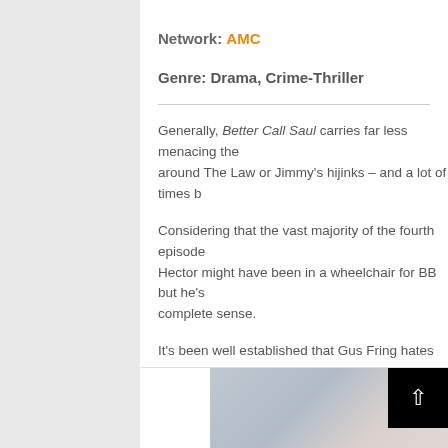Network: AMC
Genre: Drama, Crime-Thriller
Generally, Better Call Saul carries far less menacing the... around The Law or Jimmy's hijinks – and a lot of times b...
Considering that the vast majority of the fourth episode... Hector might have been in a wheelchair for BB but he's... complete sense.
It's been well established that Gus Fring hates Hector S... his partner's death. It's also known that Mike hates Sala... Salamanca hates Fring enough to kill him via martyrdon...
[Figure (photo): Bottom strip showing partial screenshot/image from Better Call Saul with navigation up-arrow button overlay]